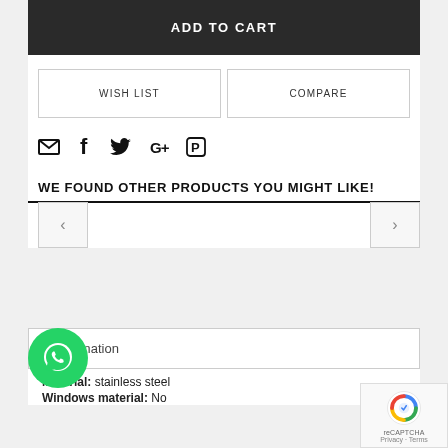ADD TO CART
WISH LIST
COMPARE
[Figure (infographic): Social share icons row: email envelope, Facebook f, Twitter bird, Google Plus G+, Pinterest P]
WE FOUND OTHER PRODUCTS YOU MIGHT LIKE!
[Figure (infographic): Product carousel navigation with left arrow button and right arrow button]
e Information
Material:   stainless steel
Windows material:  No